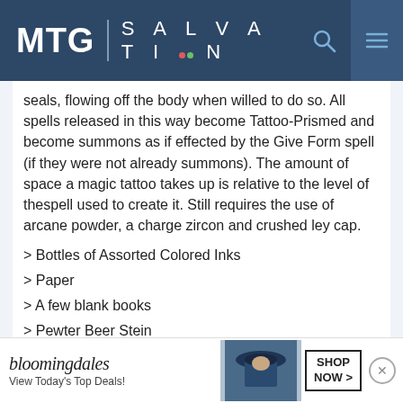MTG SALVATION
seals, flowing off the body when willed to do so. All spells released in this way become Tattoo-Prismed and become summons as if effected by the Give Form spell (if they were not already summons). The amount of space a magic tattoo takes up is relative to the level of thespell used to create it. Still requires the use of arcane powder, a charge zircon and crushed ley cap.
> Bottles of Assorted Colored Inks
> Paper
> A few blank books
> Pewter Beer Stein
> A few bottles of Dwarvish Ale
> Void hip pack.
Currency
155 gold
[Figure (photo): Bloomingdales advertisement banner with woman in hat. Text: bloomingdales, View Today's Top Deals!, SHOP NOW >]